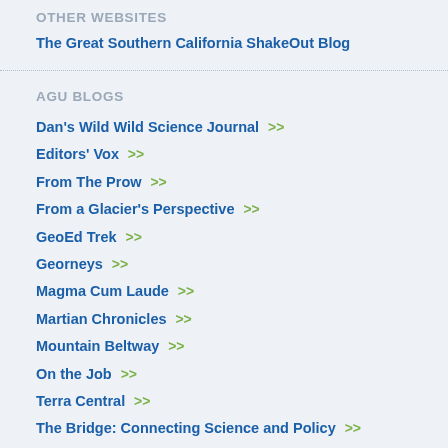OTHER WEBSITES
The Great Southern California ShakeOut Blog >>
AGU BLOGS
Dan's Wild Wild Science Journal >>
Editors' Vox >>
From The Prow >>
From a Glacier's Perspective >>
GeoEd Trek >>
Georneys >>
Magma Cum Laude >>
Martian Chronicles >>
Mountain Beltway >>
On the Job >>
Terra Central >>
The Bridge: Connecting Science and Policy >>
The Field >>
The Landslide Blog >>